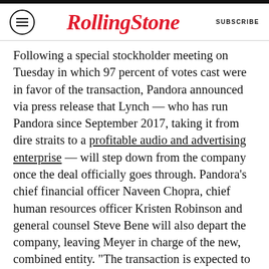RollingStone  SUBSCRIBE
Following a special stockholder meeting on Tuesday in which 97 percent of votes cast were in favor of the transaction, Pandora announced via press release that Lynch — who has run Pandora since September 2017, taking it from dire straits to a profitable audio and advertising enterprise — will step down from the company once the deal officially goes through. Pandora's chief financial officer Naveen Chopra, chief human resources officer Kristen Robinson and general counsel Steve Bene will also depart the company, leaving Meyer in charge of the new, combined entity. “The transaction is expected to close shortly, subject to customary closing conditions,” Pandora wrote in a note to investors. “Assuming completion of the transaction, shares of Pandora common stock are